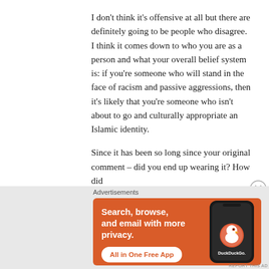I don't think it's offensive at all but there are definitely going to be people who disagree. I think it comes down to who you are as a person and what your overall belief system is: if you're someone who will stand in the face of racism and passive aggressions, then it's likely that you're someone who isn't about to go and culturally appropriate an Islamic identity.
Since it has been so long since your original comment – did you end up wearing it? How did
[Figure (infographic): DuckDuckGo advertisement banner with orange background. Text reads 'Search, browse, and email with more privacy. All in One Free App' with a phone mockup showing the DuckDuckGo logo.]